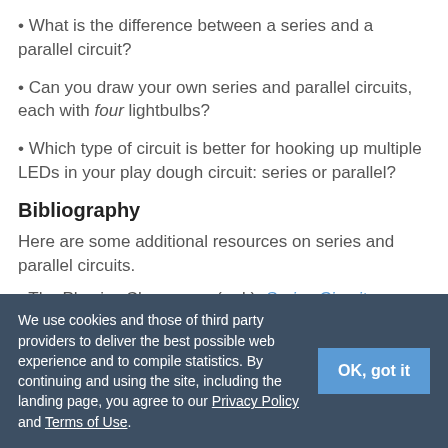What is the difference between a series and a parallel circuit?
Can you draw your own series and parallel circuits, each with four lightbulbs?
Which type of circuit is better for hooking up multiple LEDs in your play dough circuit: series or parallel?
Bibliography
Here are some additional resources on series and parallel circuits.
The Physics Classroom. (n.d.). Series Circuits. Retrieved
We use cookies and those of third party providers to deliver the best possible web experience and to compile statistics. By continuing and using the site, including the landing page, you agree to our Privacy Policy and Terms of Use.